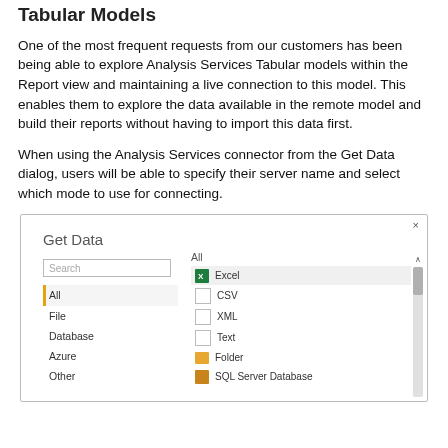Tabular Models
One of the most frequent requests from our customers has been being able to explore Analysis Services Tabular models within the Report view and maintaining a live connection to this model. This enables them to explore the data available in the remote model and build their reports without having to import this data first.
When using the Analysis Services connector from the Get Data dialog, users will be able to specify their server name and select which mode to use for connecting.
[Figure (screenshot): Get Data dialog box showing left panel with categories (All, File, Database, Azure, Other) and right panel listing data sources (Excel, CSV, XML, Text, Folder, SQL Server Database) with a search box at the top.]